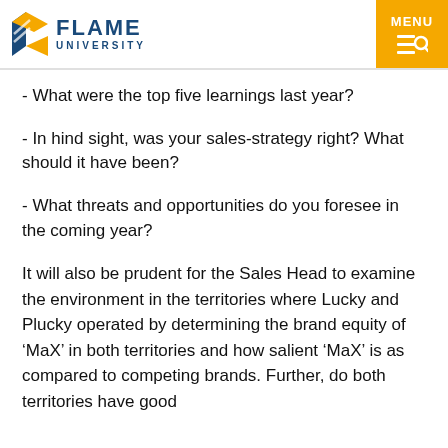FLAME UNIVERSITY | MENU
- What were the top five learnings last year?
- In hind sight, was your sales-strategy right? What should it have been?
- What threats and opportunities do you foresee in the coming year?
It will also be prudent for the Sales Head to examine the environment in the territories where Lucky and Plucky operated by determining the brand equity of ‘MaX’ in both territories and how salient ‘MaX’ is as compared to competing brands. Further, do both territories have good